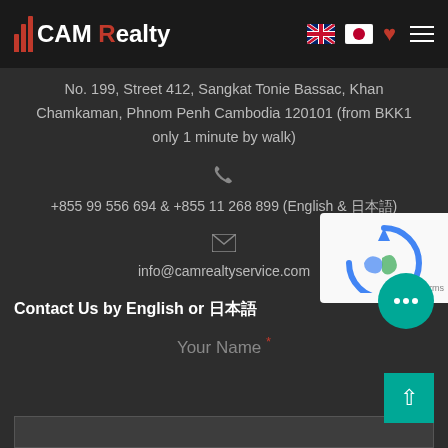CAM Realty
No. 199, Street 412, Sangkat Tonie Bassac, Khan Chamkaman, Phnom Penh Cambodia 120101 (from BKK1 only 1 minute by walk)
+855 99 556 694 & +855 11 268 899 (English & 日本語)
info@camrealtyservice.com
Contact Us by English or 日本語
Your Name *